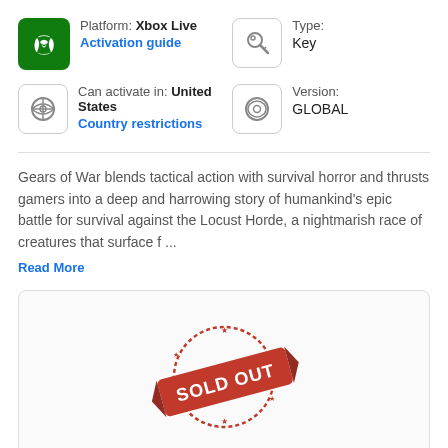Platform: Xbox Live
Activation guide
Type:
Key
Can activate in: United States
Country restrictions
Version:
GLOBAL
Gears of War blends tactical action with survival horror and thrusts gamers into a deep and harrowing story of humankind's epic battle for survival against the Locust Horde, a nightmarish race of creatures that surface f ...
Read More
[Figure (infographic): Red 'SOLD OUT' stamp graphic with stars on a circular border]
Sold out